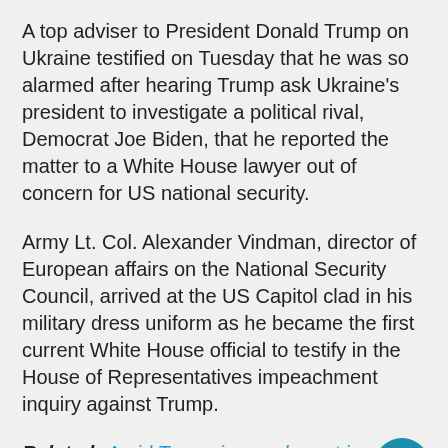A top adviser to President Donald Trump on Ukraine testified on Tuesday that he was so alarmed after hearing Trump ask Ukraine's president to investigate a political rival, Democrat Joe Biden, that he reported the matter to a White House lawyer out of concern for US national security.
Army Lt. Col. Alexander Vindman, director of European affairs on the National Security Council, arrived at the US Capitol clad in his military dress uniform as he became the first current White House official to testify in the House of Representatives impeachment inquiry against Trump.
Related: Amid Trump impeachment inquiry, futu...